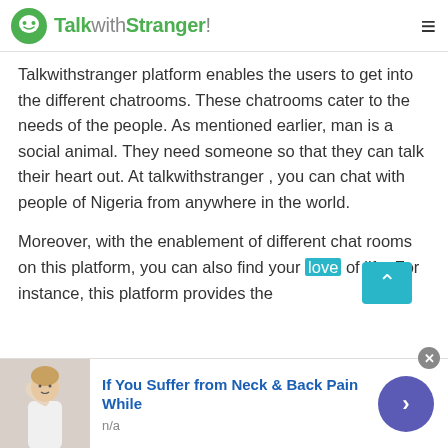TalkwithStranger!
Talkwithstranger platform enables the users to get into the different chatrooms. These chatrooms cater to the needs of the people. As mentioned earlier, man is a social animal. They need someone so that they can talk their heart out. At talkwithstranger , you can chat with people of Nigeria from anywhere in the world.
Moreover, with the enablement of different chat rooms on this platform, you can also find your love of life. For instance, this platform provides the
[Figure (screenshot): Advertisement banner: If You Suffer from Neck & Back Pain While, n/a, with image of person touching neck, and a purple circular next button]
If You Suffer from Neck & Back Pain While
n/a